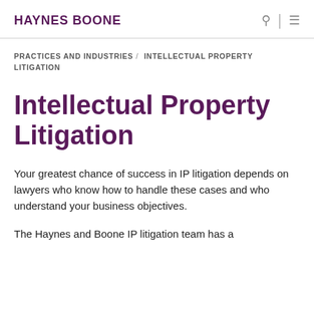HAYNES BOONE
PRACTICES AND INDUSTRIES / INTELLECTUAL PROPERTY LITIGATION
Intellectual Property Litigation
Your greatest chance of success in IP litigation depends on lawyers who know how to handle these cases and who understand your business objectives.
The Haynes and Boone IP litigation team has a